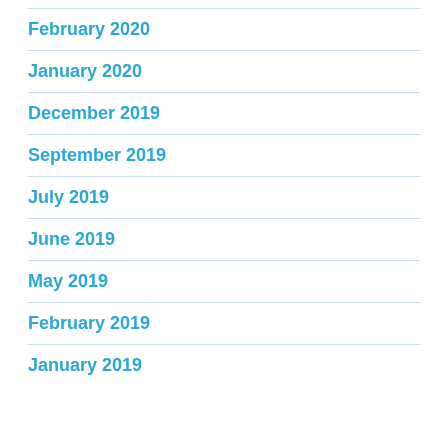February 2020
January 2020
December 2019
September 2019
July 2019
June 2019
May 2019
February 2019
January 2019